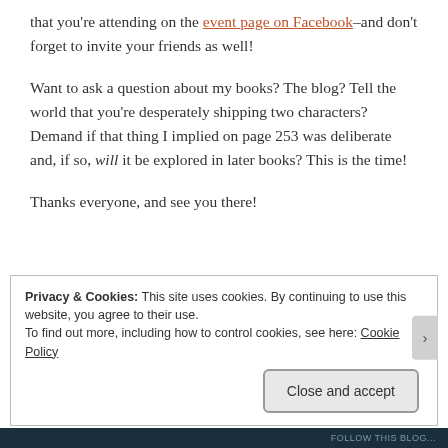that you're attending on the event page on Facebook–and don't forget to invite your friends as well!
Want to ask a question about my books? The blog? Tell the world that you're desperately shipping two characters? Demand if that thing I implied on page 253 was deliberate and, if so, will it be explored in later books? This is the time!
Thanks everyone, and see you there!
Privacy & Cookies: This site uses cookies. By continuing to use this website, you agree to their use. To find out more, including how to control cookies, see here: Cookie Policy